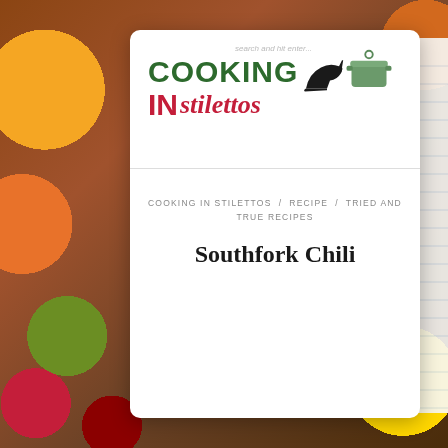[Figure (photo): Colorful food background with fruits and vegetables (oranges, berries, greens) on a wooden surface, with a notebook on the right side]
[Figure (logo): Cooking in Stilettos logo with green bold COOKING text, red IN, red italic stilettos text, high heel shoe silhouette and green cooking pot icon]
COOKING IN STILETTOS / RECIPE / TRIED AND TRUE RECIPES
Southfork Chili